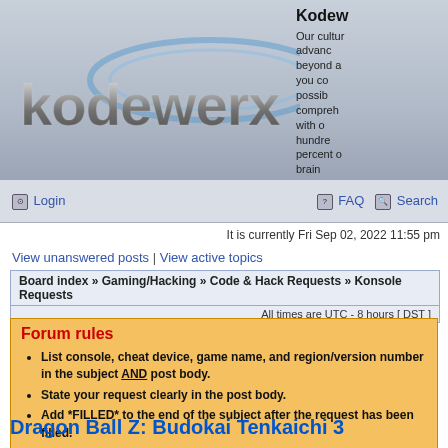[Figure (logo): Kodewerx logo with stylized metallic text on blue-gray gradient background]
Kodewerx
Our culture is to advance beyond a hundred percent of brain...
Login
FAQ  Search
It is currently Fri Sep 02, 2022 11:55 pm
View unanswered posts | View active topics
Board index » Gaming/Hacking » Code & Hack Requests » Konsole Requests
All times are UTC - 8 hours [ DST ]
Forum rules
List console, cheat device, game name, and region/version number in the subject AND post body.
State your request clearly in the post body.
Add *FILLED* to the end of the subject after the request has been filled.
Dragon Ball Z: Budokai Tenkaichi 3